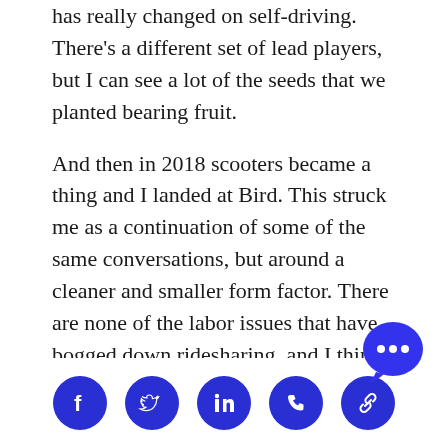has really changed on self-driving. There's a different set of lead players, but I can see a lot of the seeds that we planted bearing fruit.
And then in 2018 scooters became a thing and I landed at Bird. This struck me as a continuation of some of the same conversations, but around a cleaner and smaller form factor. There are none of the labor issues that have bogged down ridesharing, and I think the potential is even greater.
The team that I had built at Uber was the Policy Development team. This is kind of like an in-house think tank for the company. It includ…
[Figure (infographic): Social media share icons (Facebook, Twitter, LinkedIn, Phone, Link) in blue circles, and a chat bubble icon with ellipsis]